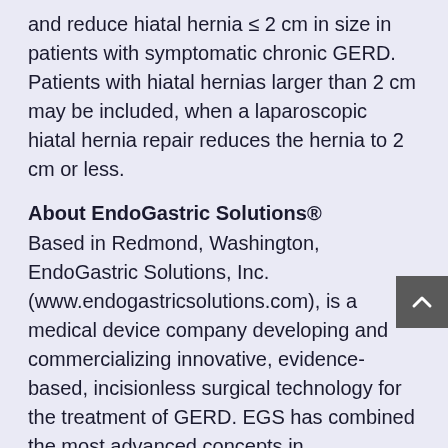and reduce hiatal hernia ≤ 2 cm in size in patients with symptomatic chronic GERD. Patients with hiatal hernias larger than 2 cm may be included, when a laparoscopic hiatal hernia repair reduces the hernia to 2 cm or less.
About EndoGastric Solutions®
Based in Redmond, Washington, EndoGastric Solutions, Inc. (www.endogastricsolutions.com), is a medical device company developing and commercializing innovative, evidence-based, incisionless surgical technology for the treatment of GERD. EGS has combined the most advanced concepts in gastroenterology and surgery to develop products and procedures to treat gastrointestinal diseases, including the TIF 2.0 procedure—a minimally invasive solution that addresses a significant unmet clinical need. Join the conversation on Twitter: @GERDHelp